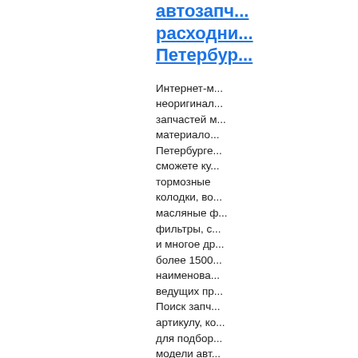автозапч... расходни... Петербур...
Интернет-м... неоригинал... запчастей м... материало... Петербурге... сможете ку... тормозные колодки, во... масляные ф... фильтры, с... и многое др... более 1500... наименова... ведущих пр... Поиск запч... артикулу, ко... для подбор... модели авт... Доставка п... области, а... города и ре...
http://dvigets.ru